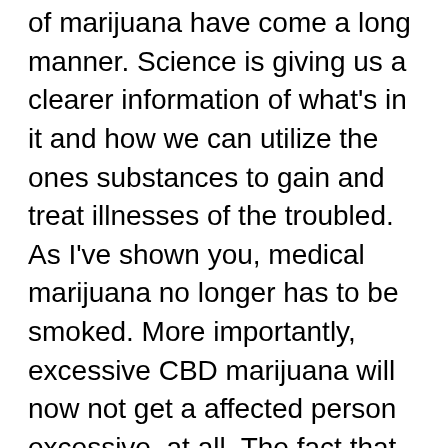of marijuana have come a long manner. Science is giving us a clearer information of what's in it and how we can utilize the ones substances to gain and treat illnesses of the troubled. As I've shown you, medical marijuana no longer has to be smoked. More importantly, excessive CBD marijuana will now not get a affected person excessive, at all. The fact that the human body makes and uses its very own cannabinoids anyway, must be an eye fixed opener to the clinical area. Marijuana as a medicine is as or greater powerful than nearly any prescribed drug on earth and studies is proving that it's so a whole lot more secure. With the excessive from THC being negated in high CBD marijuana, and new ways of medicating without smoking; there may be no lon